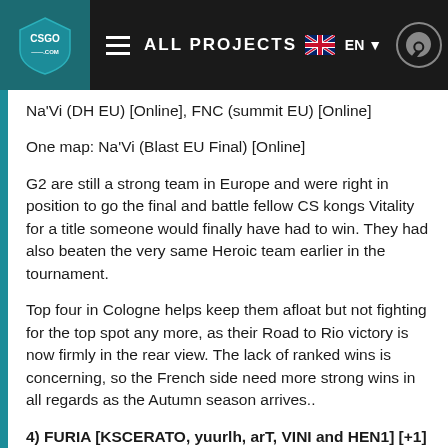ALL PROJECTS | EN
Na'Vi (DH EU) [Online], FNC (summit EU) [Online]
One map: Na'Vi (Blast EU Final) [Online]
G2 are still a strong team in Europe and were right in position to go the final and battle fellow CS kongs Vitality for a title someone would finally have had to win. They had also beaten the very same Heroic team earlier in the tournament.
Top four in Cologne helps keep them afloat but not fighting for the top spot any more, as their Road to Rio victory is now firmly in the rear view. The lack of ranked wins is concerning, so the French side need more strong wins in all regards as the Autumn season arrives..
4) FURIA [KSCERATO, yuurlh, arT, VINI and HEN1] [+1]